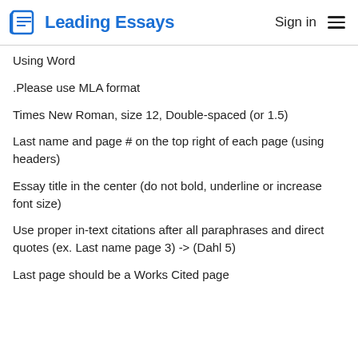Leading Essays | Sign in
Using Word
.Please use MLA format
Times New Roman, size 12, Double-spaced (or 1.5)
Last name and page # on the top right of each page (using headers)
Essay title in the center (do not bold, underline or increase font size)
Use proper in-text citations after all paraphrases and direct quotes (ex. Last name page 3) -> (Dahl 5)
Last page should be a Works Cited page